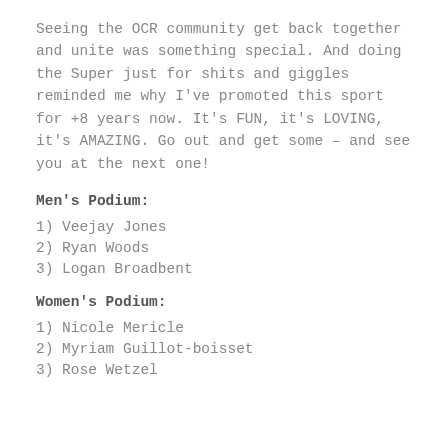Seeing the OCR community get back together and unite was something special. And doing the Super just for shits and giggles reminded me why I've promoted this sport for +8 years now. It's FUN, it's LOVING, it's AMAZING. Go out and get some – and see you at the next one!
Men's Podium:
1) Veejay Jones
2) Ryan Woods
3) Logan Broadbent
Women's Podium:
1) Nicole Mericle
2) Myriam Guillot-boisset
3) Rose Wetzel